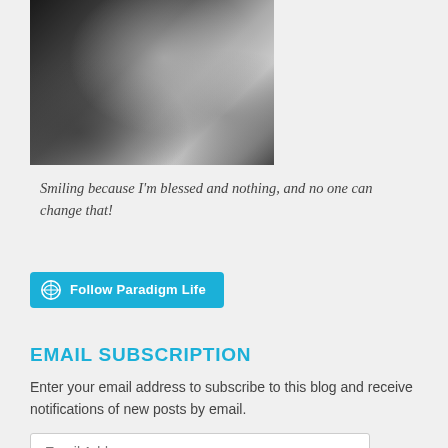[Figure (photo): Black and white close-up photo of a smiling woman with dark hair]
Smiling because I'm blessed and nothing, and no one can change that!
[Figure (other): WordPress Follow button reading 'Follow Paradigm Life' in cyan/blue with WordPress logo icon]
EMAIL SUBSCRIPTION
Enter your email address to subscribe to this blog and receive notifications of new posts by email.
Email Address